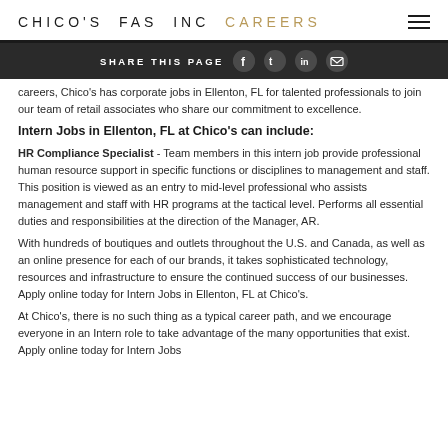CHICO'S FAS INC CAREERS
SHARE THIS PAGE
careers, Chico's has corporate jobs in Ellenton, FL for talented professionals to join our team of retail associates who share our commitment to excellence.
Intern Jobs in Ellenton, FL at Chico's can include:
HR Compliance Specialist - Team members in this intern job provide professional human resource support in specific functions or disciplines to management and staff. This position is viewed as an entry to mid-level professional who assists management and staff with HR programs at the tactical level. Performs all essential duties and responsibilities at the direction of the Manager, AR.
With hundreds of boutiques and outlets throughout the U.S. and Canada, as well as an online presence for each of our brands, it takes sophisticated technology, resources and infrastructure to ensure the continued success of our businesses. Apply online today for Intern Jobs in Ellenton, FL at Chico's.
At Chico's, there is no such thing as a typical career path, and we encourage everyone in an Intern role to take advantage of the many opportunities that exist. Apply online today for Intern Jobs